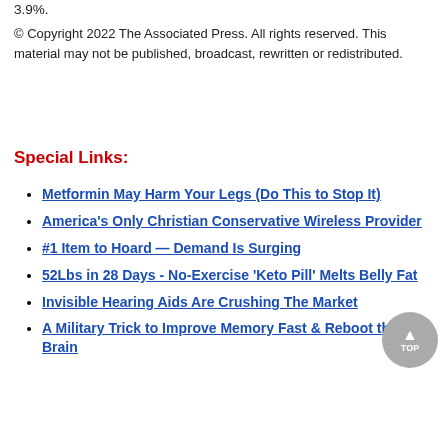3.9%.
© Copyright 2022 The Associated Press. All rights reserved. This material may not be published, broadcast, rewritten or redistributed.
Special Links:
Metformin May Harm Your Legs (Do This to Stop It)
America's Only Christian Conservative Wireless Provider
#1 Item to Hoard — Demand Is Surging
52Lbs in 28 Days - No-Exercise 'Keto Pill' Melts Belly Fat
Invisible Hearing Aids Are Crushing The Market
A Military Trick to Improve Memory Fast & Reboot the Brain